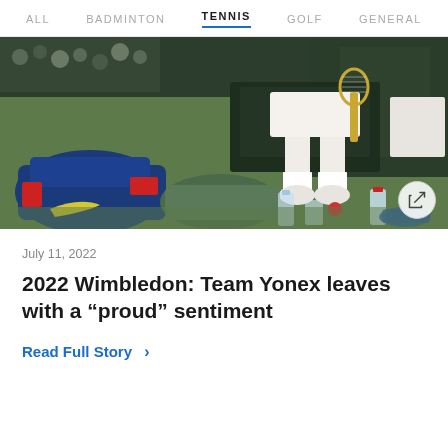ALL   BADMINTON   TENNIS   GOLF   GENERAL
[Figure (photo): Tennis player sitting courtside on a chair at Wimbledon, with racket in hand, wearing white outfit and sneakers. In the foreground are tennis bags, water bottles, a glass of water, and a banana on the grass.]
July 11, 2022
2022 Wimbledon: Team Yonex leaves with a “proud” sentiment
Read Full Story >